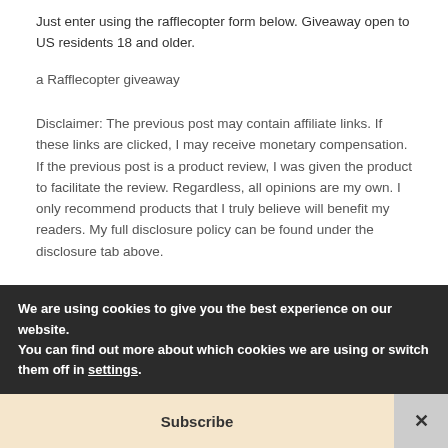Just enter using the rafflecopter form below. Giveaway open to US residents 18 and older.
a Rafflecopter giveaway
Disclaimer: The previous post may contain affiliate links. If these links are clicked, I may receive monetary compensation. If the previous post is a product review, I was given the product to facilitate the review. Regardless, all opinions are my own. I only recommend products that I truly believe will benefit my readers. My full disclosure policy can be found under the disclosure tab above.
We are using cookies to give you the best experience on our website.
You can find out more about which cookies we are using or switch them off in settings.
Subscribe